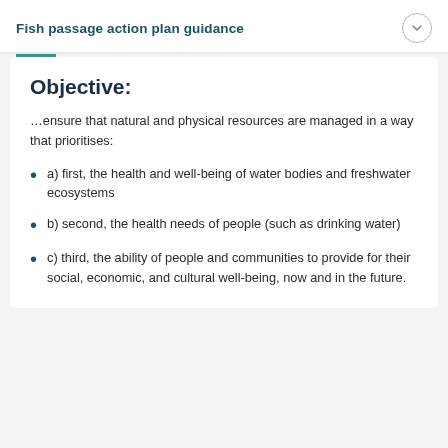Fish passage action plan guidance
Objective:
…ensure that natural and physical resources are managed in a way that prioritises:
a) first, the health and well-being of water bodies and freshwater ecosystems
b) second, the health needs of people (such as drinking water)
c) third, the ability of people and communities to provide for their social, economic, and cultural well-being, now and in the future.